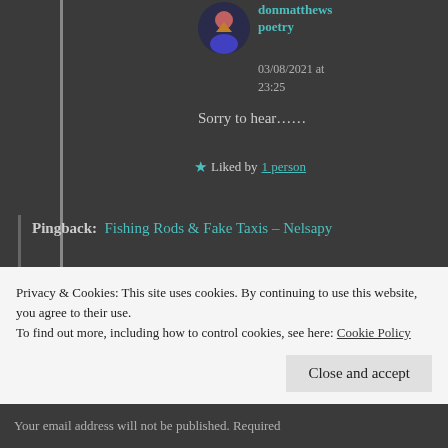donmatthews poetry
03/08/2021 at 23:25
Sorry to hear……
★ Liked by 1 person
Pingback:  Fishing Rods & Fake Taxis – Nelsapy
Pingback:  Fishing Rods & Fake Taxis – Virtual
Privacy & Cookies: This site uses cookies. By continuing to use this website, you agree to their use. To find out more, including how to control cookies, see here: Cookie Policy
Close and accept
Your email address will not be published. Required